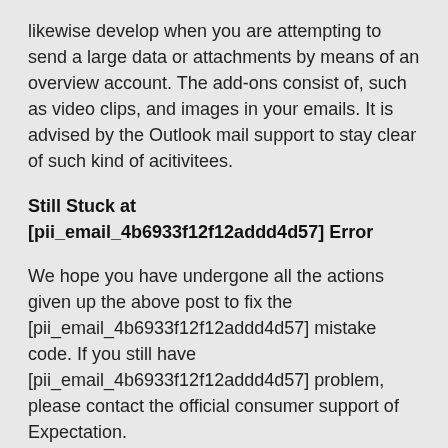likewise develop when you are attempting to send a large data or attachments by means of an overview account. The add-ons consist of, such as video clips, and images in your emails. It is advised by the Outlook mail support to stay clear of such kind of acitivitees.
Still Stuck at [pii_email_4b6933f12f12addd4d57] Error
We hope you have undergone all the actions given up the above post to fix the [pii_email_4b6933f12f12addd4d57] mistake code. If you still have [pii_email_4b6933f12f12addd4d57] problem, please contact the official consumer support of Expectation.